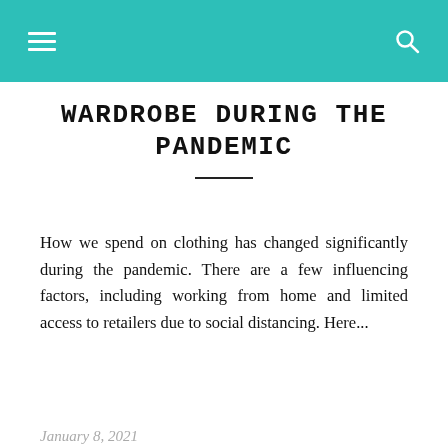Navigation bar with hamburger menu and search icon
WARDROBE DURING THE PANDEMIC
How we spend on clothing has changed significantly during the pandemic. There are a few influencing factors, including working from home and limited access to retailers due to social distancing. Here...
January 8, 2021